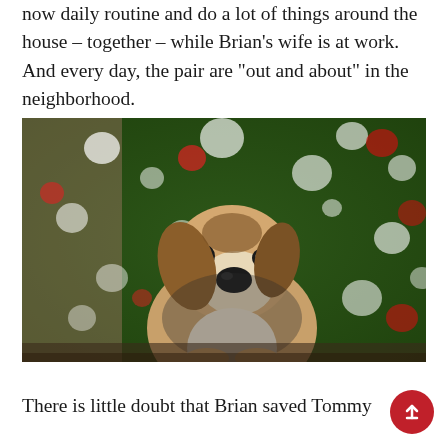now daily routine and do a lot of things around the house – together – while Brian's wife is at work. And every day, the pair are “out and about” in the neighborhood.
[Figure (photo): A beagle dog sitting and looking at the camera with a bokeh background of heart-shaped Christmas lights in red and white against a green Christmas tree]
There is little doubt that Brian saved Tommy